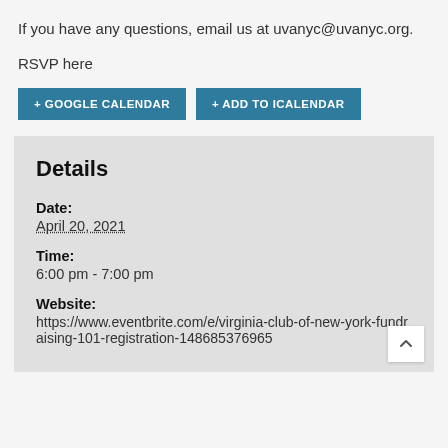If you have any questions, email us at uvanyc@uvanyc.org.
RSVP here
+ GOOGLE CALENDAR
+ ADD TO ICALENDAR
Details
Date:
April 20, 2021
Time:
6:00 pm - 7:00 pm
Website:
https://www.eventbrite.com/e/virginia-club-of-new-york-fundraising-101-registration-148685376965